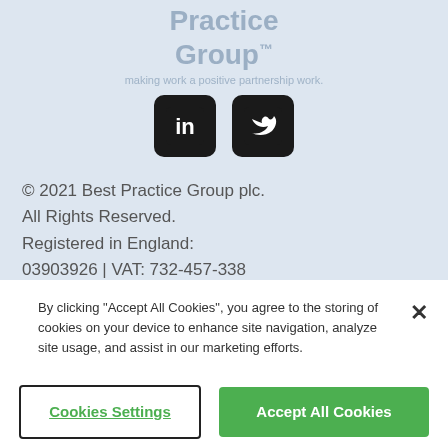[Figure (logo): Best Practice Group plc logo (faded/watermark) with tagline 'making work a positive partnership work.']
[Figure (illustration): LinkedIn and Twitter social media icons as black rounded-square buttons]
© 2021 Best Practice Group plc. All Rights Reserved. Registered in England: 03903926 | VAT: 732-457-338 Northern Head Office: Office 16, Crows Nest Business Park, Ashton Road, Wigan WN5 7XX
By clicking "Accept All Cookies", you agree to the storing of cookies on your device to enhance site navigation, analyze site usage, and assist in our marketing efforts.
Cookies Settings
Accept All Cookies